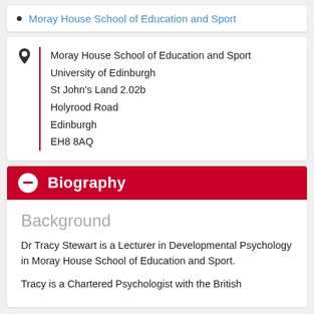Moray House School of Education and Sport
Moray House School of Education and Sport
University of Edinburgh
St John's Land 2.02b
Holyrood Road
Edinburgh
EH8 8AQ
Biography
Background
Dr Tracy Stewart is a Lecturer in Developmental Psychology in Moray House School of Education and Sport.
Tracy is a Chartered Psychologist with the British